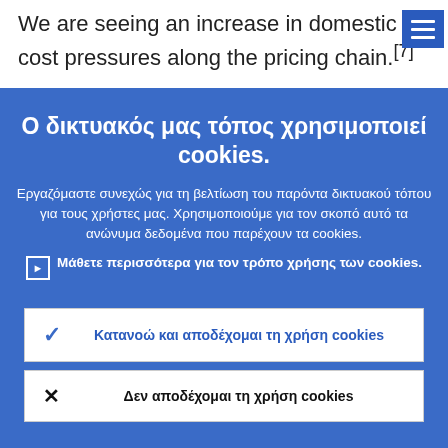We are seeing an increase in domestic cost pressures along the pricing chain.[7]
[Figure (screenshot): Cookie consent overlay in Greek on a blue background, with title 'Ο δικτυακός μας τόπος χρησιμοποιεί cookies.' and body text, a link, and two buttons for accepting or rejecting cookies.]
Ο δικτυακός μας τόπος χρησιμοποιεί cookies.
Εργαζόμαστε συνεχώς για τη βελτίωση του παρόντα δικτυακού τόπου για τους χρήστες μας. Χρησιμοποιούμε για τον σκοπό αυτό τα ανώνυμα δεδομένα που παρέχουν τα cookies.
▶ Μάθετε περισσότερα για τον τρόπο χρήσης των cookies.
✓ Κατανοώ και αποδέχομαι τη χρήση cookies
✕ Δεν αποδέχομαι τη χρήση cookies